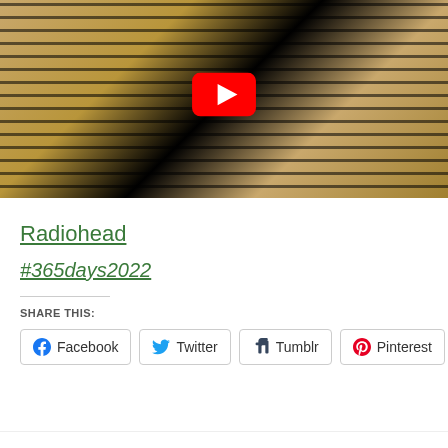[Figure (screenshot): YouTube video thumbnail showing a dark artistic collage with golden/tan and black tones, featuring architectural and surreal imagery. A red YouTube play button is centered at the top of the image.]
Radiohead
#365days2022
SHARE THIS:
Facebook  Twitter  Tumblr  Pinterest  Email